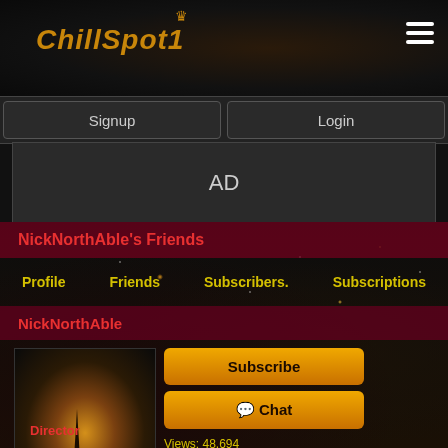[Figure (screenshot): ChillSpot1 website header with logo and hamburger menu on dark background]
Signup
Login
AD
NickNorthAble's Friends
Profile   Friends   Subscribers.   Subscriptions
NickNorthAble
[Figure (photo): Night photo of Eiffel Tower with fireworks and city lights reflected on water]
Subscribe
Chat
Views: 48,694
Subscribers: 122
User:  Offline
🇺🇸 United States
Send Message
Add as Friend
Block User
Director